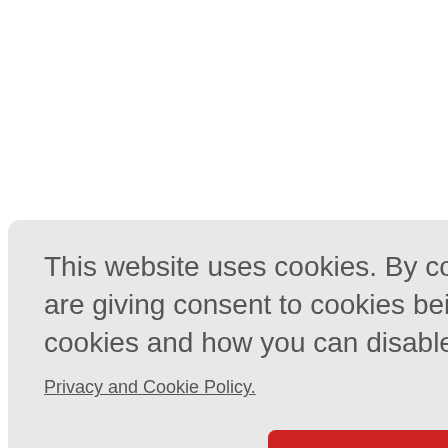aging in R
ogr 2009;1
. Lisbon: U
v 28]. ↑
s J 2007;4:2
here are we
use among
35. ↑
This website uses cookies. By continuing to use this website you are giving consent to cookies being used. For information on cookies and how you can disable them visit our
Privacy and Cookie Policy.
AGREE & PROCEED
6  Williams B. The year in hypertension. J Am Coll Cardiol 2010;55:65-73.